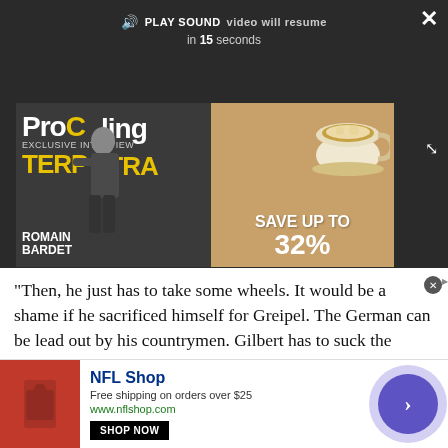[Figure (screenshot): Video player overlay on dark background showing PLAY SOUND button, 'video will resume in 15 seconds' text, and video controls (pause, expand, mute). Below is a cycling magazine advertisement showing 'ProCycling' magazine cover with cyclist Terpstra and a coffee cup with 'SAVE UP TO 32%' text.]
"Then, he just has to take some wheels. It would be a shame if he sacrificed himself for Greipel. The German can be lead out by his countrymen. Gilbert has to suck the wheel of one of Cavendish's rivals, that of Petacchi for instance. He always starts the
[Figure (screenshot): NFL Shop advertisement banner at bottom. Shows red NFL logo bag, NFL Shop brand name in blue, 'Free shipping on orders over $25', 'www.nflshop.com', and SHOP NOW button. Right side has purple circular arrow button.]